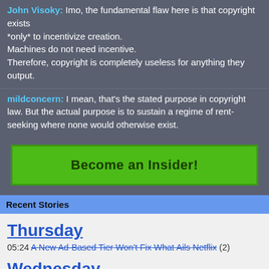John Visoky: Imo, the fundamental flaw here is that copyright exists *only* to incentivize creation. Machines do not need incentive. Therefore, copyright is completely useless for anything they output.
mildconcern: I mean, that's the stated purpose in copyright law. But the actual purpose is to sustain a regime of rent-seeking where none would otherwise exist.
[Figure (other): Green 'Become an Insider!' button]
Recent Stories
Thursday
05:24 A New Ad-Based Tier Won't Fix What Ails Netflix (2)
Wednesday
20:11 France Uses AI To Find Swimming Pools For Tax Purposes (14)
This site, like most other sites on the web, uses cookies. For more information, see our privacy policy
[Figure (other): Yellow 'GOT IT' button]